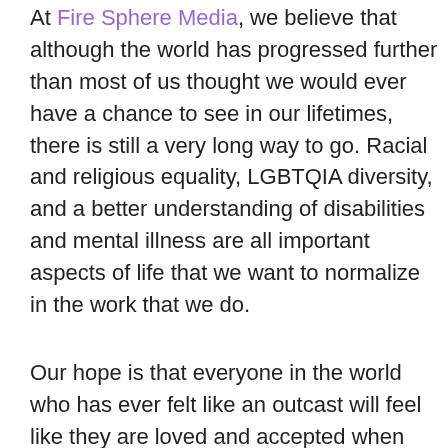At Fire Sphere Media, we believe that although the world has progressed further than most of us thought we would ever have a chance to see in our lifetimes, there is still a very long way to go. Racial and religious equality, LGBTQIA diversity, and a better understanding of disabilities and mental illness are all important aspects of life that we want to normalize in the work that we do.
Our hope is that everyone in the world who has ever felt like an outcast will feel like they are loved and accepted when they read our books or work with us. The primary focus of our work is to show the world that it is our character that defines us, not our gender, orientation, religion, or race.